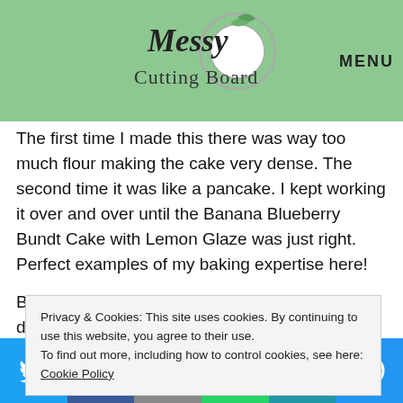Messy Cutting Board — MENU
The first time I made this there was way too much flour making the cake very dense. The second time it was like a pancake.  I kept working it over and over until the Banana Blueberry Bundt Cake with Lemon Glaze was just right.  Perfect examples of my baking expertise here!
But once I got the ratio of fluid ingredients and dry ingredients and the balance of flour just right Banana…
Privacy & Cookies: This site uses cookies. By continuing to use this website, you agree to their use.
To find out more, including how to control cookies, see here: Cookie Policy
Social share bar: Twitter, Facebook, Email, WhatsApp, SMS, More